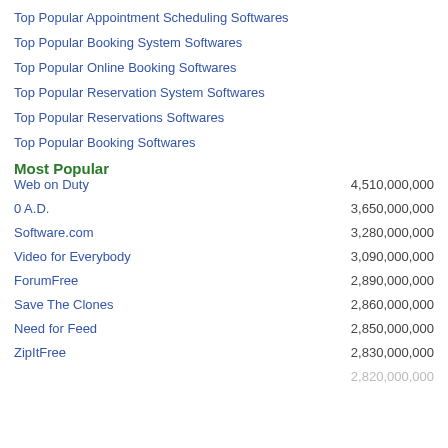Top Popular Appointment Scheduling Softwares
Top Popular Booking System Softwares
Top Popular Online Booking Softwares
Top Popular Reservation System Softwares
Top Popular Reservations Softwares
Top Popular Booking Softwares
Most Popular
| Name | Value |
| --- | --- |
| Web on Duty | 4,510,000,000 |
| 0 A.D. | 3,650,000,000 |
| Software.com | 3,280,000,000 |
| Video for Everybody | 3,090,000,000 |
| ForumFree | 2,890,000,000 |
| Save The Clones | 2,860,000,000 |
| Need for Feed | 2,850,000,000 |
| ZipItFree | 2,830,000,000 |